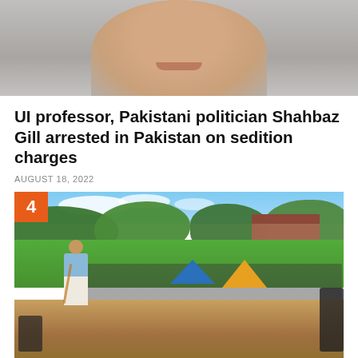[Figure (photo): Close-up headshot photo of a smiling man, cropped to show from the neck up, light grey background]
UI professor, Pakistani politician Shahbaz Gill arrested in Pakistan on sedition charges
AUGUST 18, 2022
[Figure (photo): Outdoor music festival or concert scene on a campus quad. A guitarist performs on a wooden stage facing a large crowd seated on the grass. Blue and orange/yellow tents visible, red brick building in background, large trees lining the area under partly cloudy sky. Number badge '4' in orange in upper-left corner.]